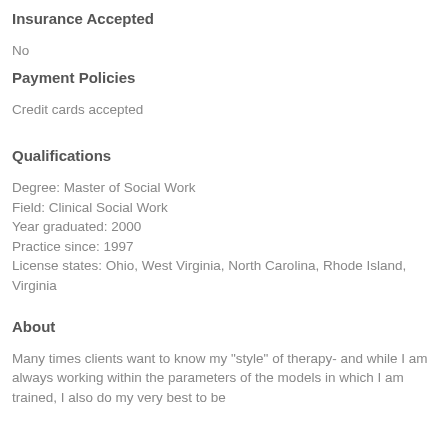Insurance Accepted
No
Payment Policies
Credit cards accepted
Qualifications
Degree: Master of Social Work
Field: Clinical Social Work
Year graduated: 2000
Practice since: 1997
License states: Ohio, West Virginia, North Carolina, Rhode Island, Virginia
About
Many times clients want to know my "style" of therapy- and while I am always working within the parameters of the models in which I am trained, I also do my very best to be